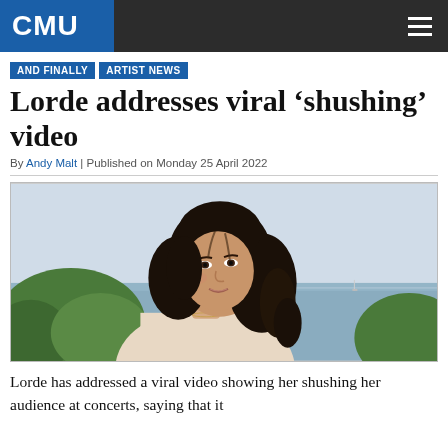CMU
AND FINALLY
ARTIST NEWS
Lorde addresses viral 'shushing' video
By Andy Malt | Published on Monday 25 April 2022
[Figure (photo): Portrait photo of Lorde, a young woman with long curly dark hair, wearing a light/cream colored top, photographed outdoors with greenery and ocean/sea visible in the background. She is looking over her shoulder toward the camera with a slight smile.]
Lorde has addressed a viral video showing her shushing her audience at concerts, saying that it